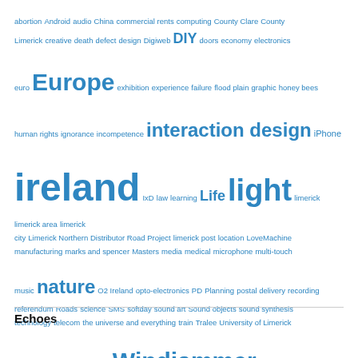[Figure (infographic): A tag cloud / word cloud with words in varying sizes, all in blue, representing topics: abortion, Android, audio, China, commercial rents, computing, County Clare, County Limerick, creative, death, defect, design, Digiweb, DIY, doors, economy, electronics, euro, Europe, exhibition, experience, failure, flood plain, graphic, honey bees, human rights, ignorance, incompetence, interaction design, iPhone, ireland, IxD, law, learning, Life, light, limerick, limerick area, limerick city, Limerick Northern Distributor Road Project, limerick post, location, LoveMachine, manufacturing, marks and spencer, Masters, media, medical, microphone, multi-touch, music, nature, O2 Ireland, opto-electronics, PD, Planning, postal delivery, recording, referendum, Roads, science, SMS, softday, sound art, Sound objects, sound synthesis, technology, telecom, the universe and everything, train, Tralee, University of Limerick, visual spectrum, web hosting, Windjammer]
Echoes